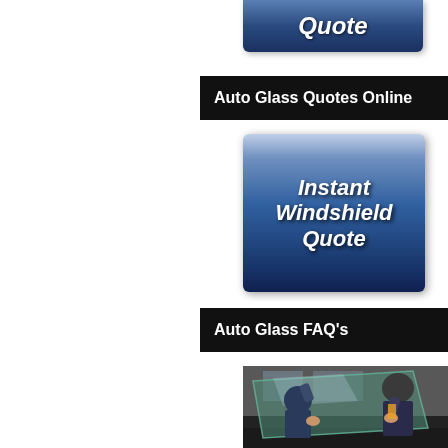[Figure (illustration): Blue gradient button with white bold italic text reading 'Quote' (partial, top cut off) — Instant Windshield Quote button top portion]
Auto Glass Quotes Online
[Figure (illustration): Blue gradient button with white bold italic text reading 'Instant Windshield Quote']
Auto Glass FAQ's
[Figure (photo): Photo of auto glass technicians installing a windshield on a vehicle]